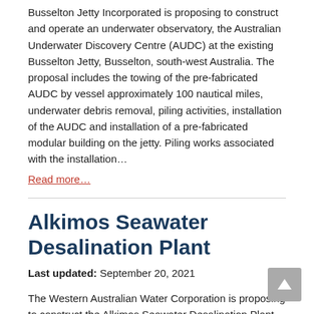Busselton Jetty Incorporated is proposing to construct and operate an underwater observatory, the Australian Underwater Discovery Centre (AUDC) at the existing Busselton Jetty, Busselton, south-west Australia. The proposal includes the towing of the pre-fabricated AUDC by vessel approximately 100 nautical miles, underwater debris removal, piling activities, installation of the AUDC and installation of a pre-fabricated modular building on the jetty. Piling works associated with the installation…
Read more…
Alkimos Seawater Desalination Plant
Last updated: September 20, 2021
The Western Australian Water Corporation is proposing to construct the Alkimos Seawater Desalination Plant (ASDP) as part of Perth's Integrated Water Supply Scheme which aims to provide additional sources of drinking water to supplement the existing metropolitan